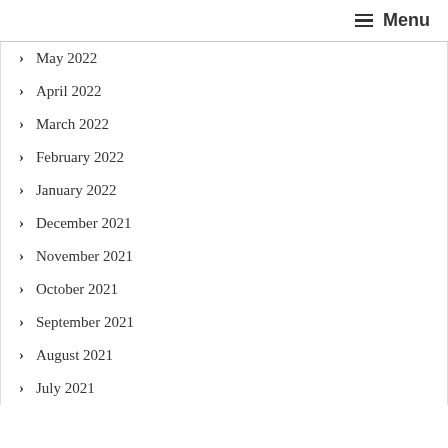≡ Menu
May 2022
April 2022
March 2022
February 2022
January 2022
December 2021
November 2021
October 2021
September 2021
August 2021
July 2021